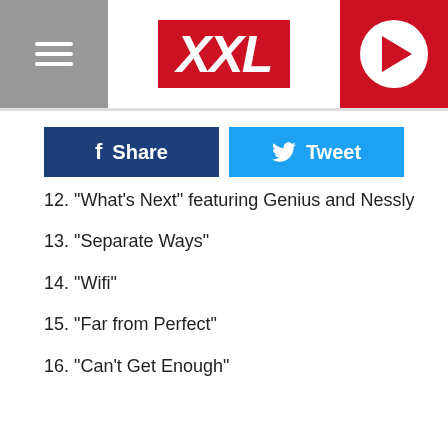XXL
12. "What's Next" featuring Genius and Nessly
13. "Separate Ways"
14. "Wifi"
15. "Far from Perfect"
16. "Can't Get Enough"